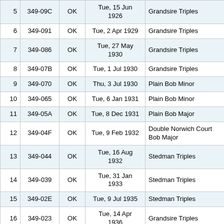| # | ID | Status | Date | Method |
| --- | --- | --- | --- | --- |
| 5 | 349-09C | OK | Tue, 15 Jun 1926 | Grandsire Triples |
| 6 | 349-091 | OK | Tue, 2 Apr 1929 | Grandsire Triples |
| 7 | 349-086 | OK | Tue, 27 May 1930 | Grandsire Triples |
| 8 | 349-07B | OK | Tue, 1 Jul 1930 | Grandsire Triples |
| 9 | 349-070 | OK | Thu, 3 Jul 1930 | Plain Bob Minor |
| 10 | 349-065 | OK | Tue, 6 Jan 1931 | Plain Bob Minor |
| 11 | 349-05A | OK | Tue, 8 Dec 1931 | Plain Bob Major |
| 12 | 349-04F | OK | Tue, 9 Feb 1932 | Double Norwich Court Bob Major |
| 13 | 349-044 | OK | Tue, 16 Aug 1932 | Stedman Triples |
| 14 | 349-039 | OK | Tue, 31 Jan 1933 | Stedman Triples |
| 15 | 349-02E | OK | Tue, 9 Jul 1935 | Stedman Triples |
| 16 | 349-023 | OK | Tue, 14 Apr 1936 | Grandsire Triples |
| 17 | 349-018 | OK | Tue, 14 Jul 1936 | Plain Bob Major |
| 18 | 349-00D | OK | Tue, 20 Apr 1937 | Plain Bob Minor |
| 19 |  |  | Tue, 11 May |  |